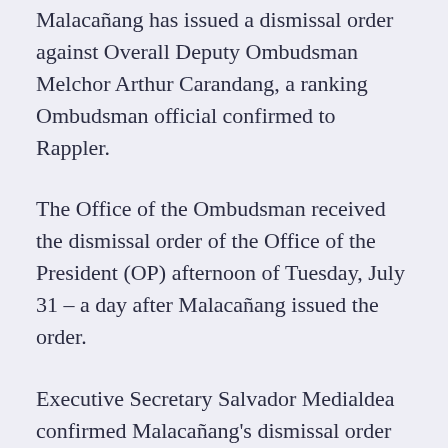Malacañang has issued a dismissal order against Overall Deputy Ombudsman Melchor Arthur Carandang, a ranking Ombudsman official confirmed to Rappler.
The Office of the Ombudsman received the dismissal order of the Office of the President (OP) afternoon of Tuesday, July 31 – a day after Malacañang issued the order.
Executive Secretary Salvador Medialdea confirmed Malacañang's dismissal order against Carandang in a text message to Rappler on Wednesday, August 1.
Acting on the complaint of the Volunteers Against Crime and Corruption (VACC), the OP found Carandang guilty of graft and corruption and of violating the government code of ethics.